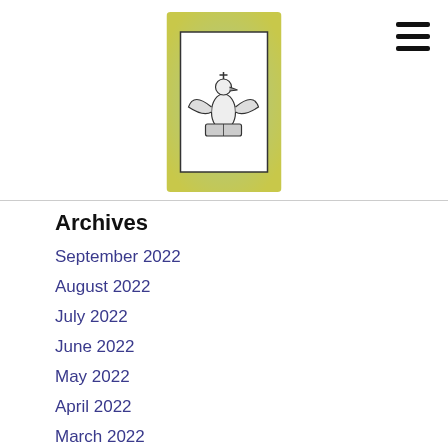[Figure (logo): Institutional logo with eagle/bird emblem on a yellow-green and blue gradient background square]
Archives
September 2022
August 2022
July 2022
June 2022
May 2022
April 2022
March 2022
February 2022
January 2022
December 2021
November 2021
October 2021
September 2021
August 2021